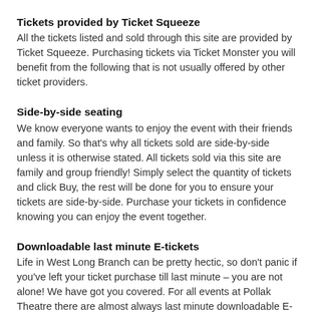Tickets provided by Ticket Squeeze
All the tickets listed and sold through this site are provided by Ticket Squeeze. Purchasing tickets via Ticket Monster you will benefit from the following that is not usually offered by other ticket providers.
Side-by-side seating
We know everyone wants to enjoy the event with their friends and family. So that's why all tickets sold are side-by-side unless it is otherwise stated. All tickets sold via this site are family and group friendly! Simply select the quantity of tickets and click Buy, the rest will be done for you to ensure your tickets are side-by-side. Purchase your tickets in confidence knowing you can enjoy the event together.
Downloadable last minute E-tickets
Life in West Long Branch can be pretty hectic, so don't panic if you've left your ticket purchase till last minute – you are not alone! We have got you covered. For all events at Pollak Theatre there are almost always last minute downloadable E-